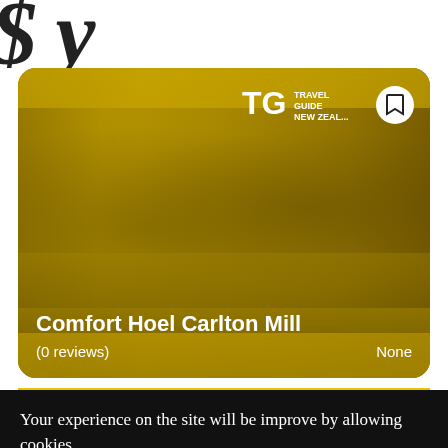[Figure (screenshot): Partial cursive/italic heading text at top of page, partially cropped]
[Figure (photo): Hotel listing card with yellow-tinted photo of Comfort Hoel Carlton Mill building exterior and pool area, Travel Guide New Zealand logo top right, bookmark icon, hotel name and review count at bottom]
Comfort Hoel Carlton Mill
(0 reviews)
None
Your experience on the site will be improve by allowing cookies.
Learn more
Allow cookies